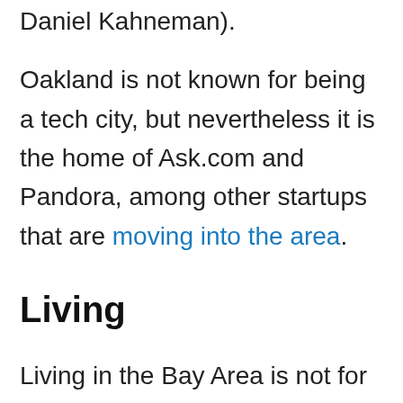Daniel Kahneman).
Oakland is not known for being a tech city, but nevertheless it is the home of Ask.com and Pandora, among other startups that are moving into the area.
Living
Living in the Bay Area is not for the faint of wallet. Certain parts of the Bay Area are toe-to-toe with Manhattan in terms of cost